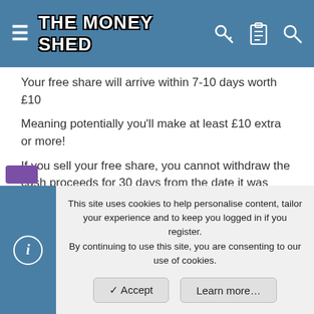THE MONEY SHED
Your free share will arrive within 7-10 days worth £10
Meaning potentially you'll make at least £10 extra or more!
If you sell your free share, you cannot withdraw the cash proceeds for 30 days from the date it was awarded.
This is my first time posting so I'm excited 🙂
https://magic.freetrade.io/join/daniel/f38d4ed6
This site uses cookies to help personalise content, tailor your experience and to keep you logged in if you register.
By continuing to use this site, you are consenting to our use of cookies.